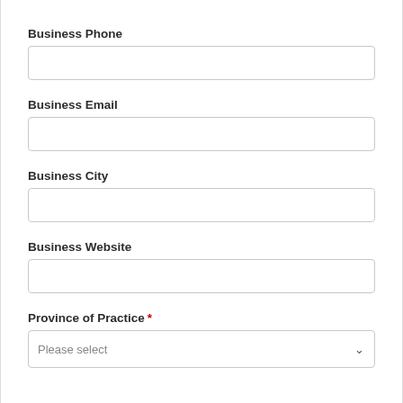Business Phone
Business Email
Business City
Business Website
Province of Practice *